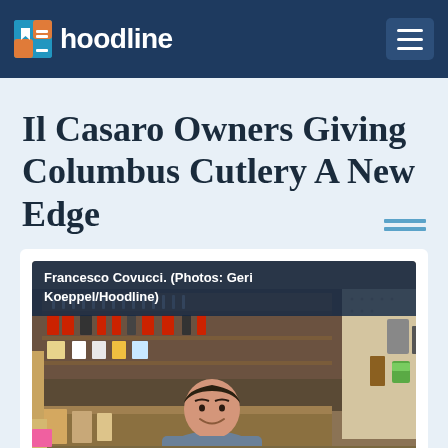hoodline
Il Casaro Owners Giving Columbus Cutlery A New Edge
[Figure (photo): Photo of Francesco Covucci inside a cutlery/hardware store, smiling at camera. Store has wooden shelving with knives, scissors, and various tools on display. Caption overlay reads: Francesco Covucci. (Photos: Geri Koeppel/Hoodline)]
Francesco Covucci. (Photos: Geri Koeppel/Hoodline)